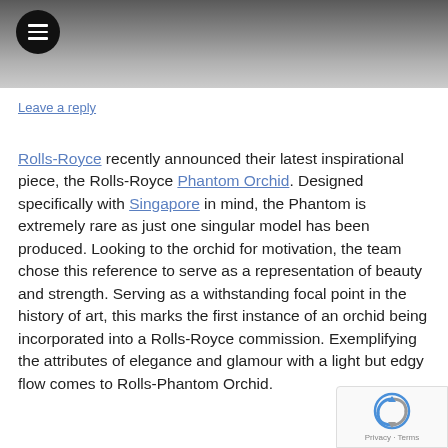[Figure (photo): Partial view of a Rolls-Royce car in gray tones with a hamburger menu icon overlay]
Leave a reply
Rolls-Royce recently announced their latest inspirational piece, the Rolls-Royce Phantom Orchid. Designed specifically with Singapore in mind, the Phantom is extremely rare as just one singular model has been produced. Looking to the orchid for motivation, the team chose this reference to serve as a representation of beauty and strength. Serving as a withstanding focal point in the history of art, this marks the first instance of an orchid being incorporated into a Rolls-Royce commission. Exemplifying the attributes of elegance and glamour with a light but edgy flow comes to Rolls-Phantom Orchid.